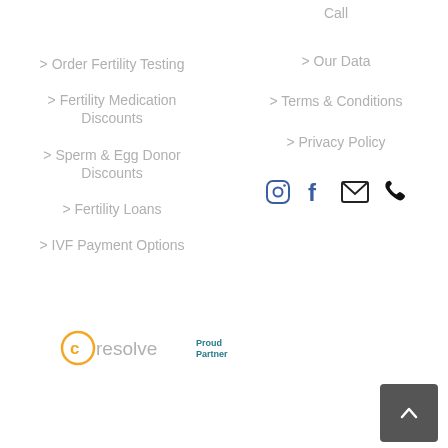> Order Fertility Testing
> Fertility Medication Discounts
> Sperm & Egg Donor Discounts
> Fertility Loans
> IVF Payment Options
Call
> Our Data
> Terms & Conditions
> Privacy Policy
[Figure (infographic): Social media icons: Instagram, Facebook, Email, Phone]
[Figure (logo): Resolve Proud Partner logo]